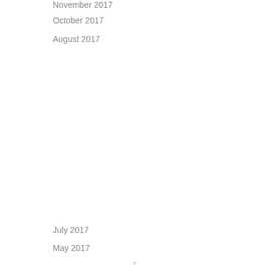November 2017
October 2017
August 2017
Back To Top
July 2017
May 2017